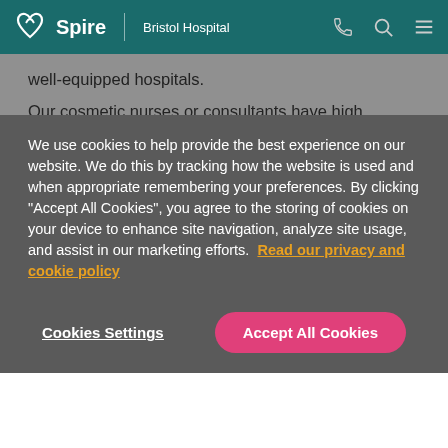Spire | Bristol Hospital
well-equipped hospitals.
Our cosmetic nurses or consultants have high standards to meet, often holding specialist NHS posts and delivering expertise in complex sub-specialty surgeries. Many of our cosmetic consultants have international reputations for their research in their specialised field.
We use cookies to help provide the best experience on our website. We do this by tracking how the website is used and when appropriate remembering your preferences. By clicking "Accept All Cookies", you agree to the storing of cookies on your device to enhance site navigation, analyze site usage, and assist in our marketing efforts. Read our privacy and cookie policy
Cookies Settings
Accept All Cookies